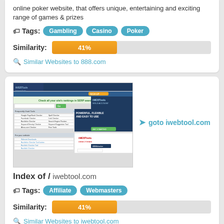online poker website, that offers unique, entertaining and exciting range of games & prizes
Tags: Gambling Casino Poker
Similarity: 41%
Similar Websites to 888.com
[Figure (screenshot): Screenshot of iwebtool.com website showing SEO tools interface]
goto iwebtool.com
Index of / iwebtool.com
Tags: Affiliate Webmasters
Similarity: 41%
Similar Websites to iwebtool.com